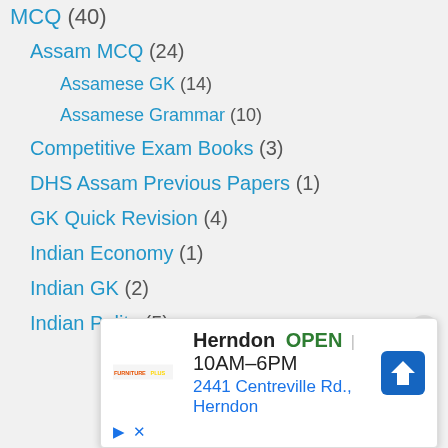MCQ (40)
Assam MCQ (24)
Assamese GK (14)
Assamese Grammar (10)
Competitive Exam Books (3)
DHS Assam Previous Papers (1)
GK Quick Revision (4)
Indian Economy (1)
Indian GK (2)
Indian Polity (5)
[Figure (screenshot): Advertisement overlay for a Furniture store in Herndon, showing OPEN 10AM-6PM and address 2441 Centreville Rd., Herndon with navigation arrow icon]